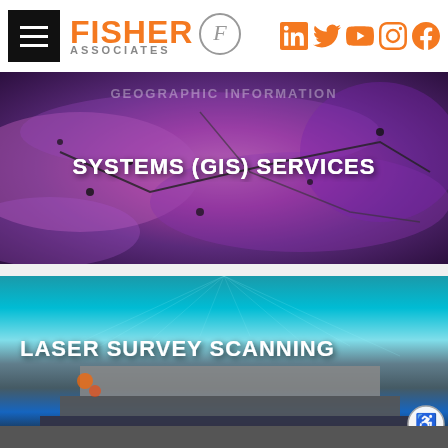FISHER ASSOCIATES — navigation header with social icons
[Figure (screenshot): GIS map banner with purple/magenta color overlay showing geographic features, with text GEOGRAPHIC INFORMATION SYSTEMS (GIS) SERVICES]
[Figure (photo): Laser survey scanning point cloud image of a building/bridge structure in cyan and blue tones with text LASER SURVEY SCANNING]